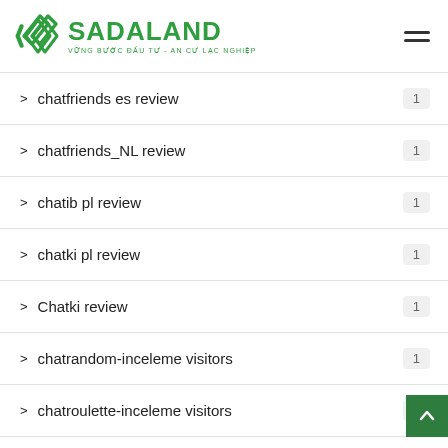[Figure (logo): Sadaland logo with green diamond icon and green text SADALAND and tagline VỮNG BƯỚC ĐẦU TƯ - AN CƯ LẠC NGHIỆP]
chatfriends es review  1
chatfriends_NL review  1
chatib pl review  1
chatki pl review  1
Chatki review  1
chatrandom-inceleme visitors  1
chatroulette-inceleme visitors  1